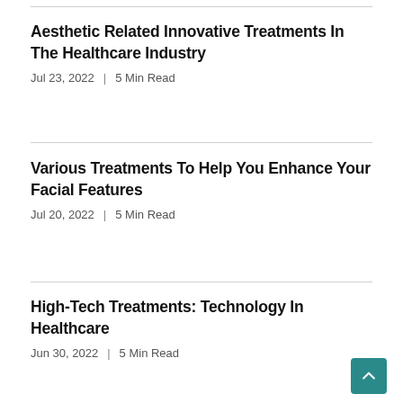Aesthetic Related Innovative Treatments In The Healthcare Industry
Jul 23, 2022  |  5 Min Read
Various Treatments To Help You Enhance Your Facial Features
Jul 20, 2022  |  5 Min Read
High-Tech Treatments: Technology In Healthcare
Jun 30, 2022  |  5 Min Read